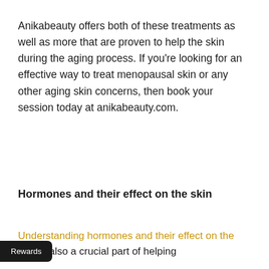Anikabeauty offers both of these treatments as well as more that are proven to help the skin during the aging process. If you're looking for an effective way to treat menopausal skin or any other aging skin concerns, then book your session today at anikabeauty.com.
Hormones and their effect on the skin
Understanding hormones and their effect on the skin is also a crucial part of helping